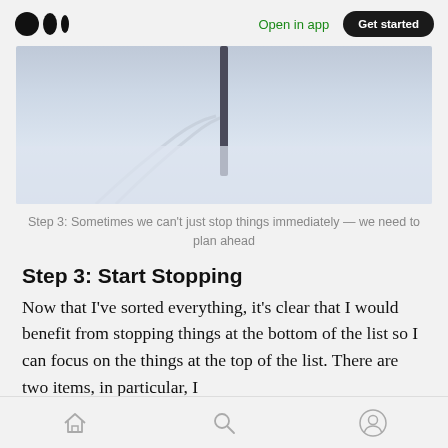Open in app  Get started
[Figure (photo): A snowy winter landscape with a dark pole or post partially buried in deep snow, with tire tracks visible in the snow]
Step 3: Sometimes we can't just stop things immediately — we need to plan ahead
Step 3: Start Stopping
Now that I've sorted everything, it's clear that I would benefit from stopping things at the bottom of the list so I can focus on the things at the top of the list. There are two items, in particular, I
Home  Search  Profile